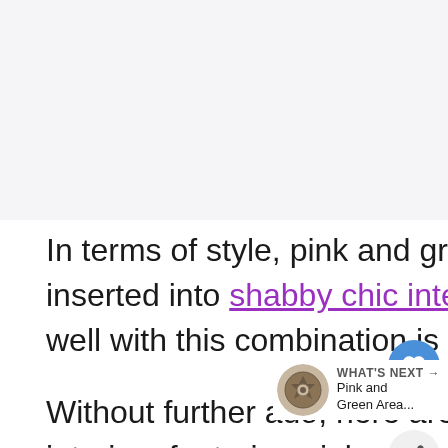[Figure (photo): Image placeholder — likely a pink and grey area rug interior photo]
In terms of style, pink and grey area rugs work well when inserted into shabby chic interiors. Another style that goes quite well with this combination is Scandinavian and ultra-modern.
Without further ado, here are some of the most interesting interiors featuring pink and